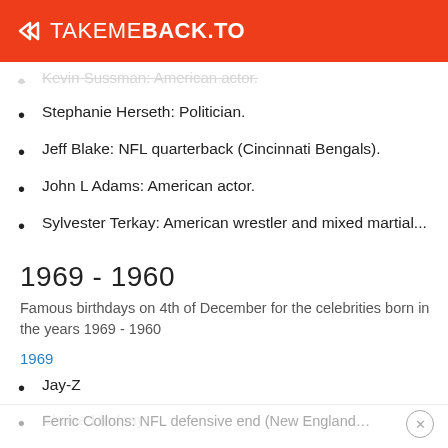TAKEMEBACK.TO
Kevin Sussman: American actor.
Stephanie Herseth: Politician.
Jeff Blake: NFL quarterback (Cincinnati Bengals).
John L Adams: American actor.
Sylvester Terkay: American wrestler and mixed martial...
1969 - 1960
Famous birthdays on 4th of December for the celebrities born in the years 1969 - 1960
1969
Jay-Z
Shona Lindsay
Plum Sykes: English journalist and author.
Ferric Collons: NFL defensive end (New England...